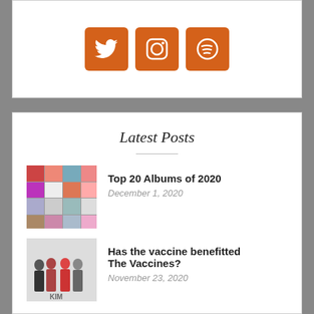[Figure (infographic): Three orange rounded square social media icons: Twitter, Instagram, Spotify]
Latest Posts
[Figure (photo): Mosaic grid of album artwork thumbnails for Top 20 Albums of 2020]
Top 20 Albums of 2020
December 1, 2020
[Figure (photo): Photo of The Vaccines band members standing together]
Has the vaccine benefitted The Vaccines?
November 23, 2020